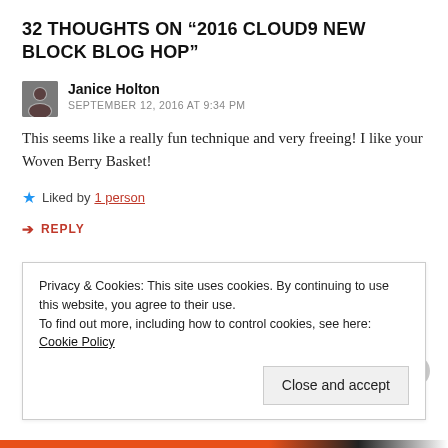32 THOUGHTS ON “2016 CLOUD9 NEW BLOCK BLOG HOP”
Janice Holton
SEPTEMBER 12, 2016 AT 9:34 PM
This seems like a really fun technique and very freeing! I like your Woven Berry Basket!
Liked by 1 person
REPLY
Privacy & Cookies: This site uses cookies. By continuing to use this website, you agree to their use. To find out more, including how to control cookies, see here: Cookie Policy
Close and accept